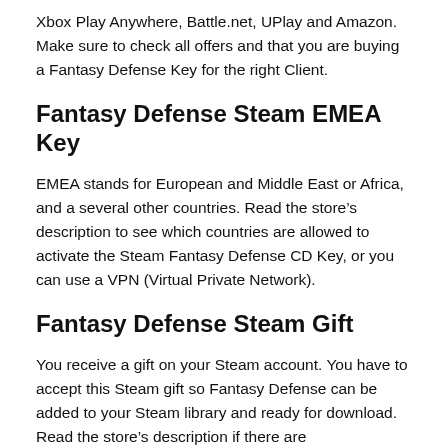Xbox Play Anywhere, Battle.net, UPlay and Amazon. Make sure to check all offers and that you are buying a Fantasy Defense Key for the right Client.
Fantasy Defense Steam EMEA Key
EMEA stands for European and Middle East or Africa, and a several other countries. Read the store’s description to see which countries are allowed to activate the Steam Fantasy Defense CD Key, or you can use a VPN (Virtual Private Network).
Fantasy Defense Steam Gift
You receive a gift on your Steam account. You have to accept this Steam gift so Fantasy Defense can be added to your Steam library and ready for download. Read the store’s description if there are